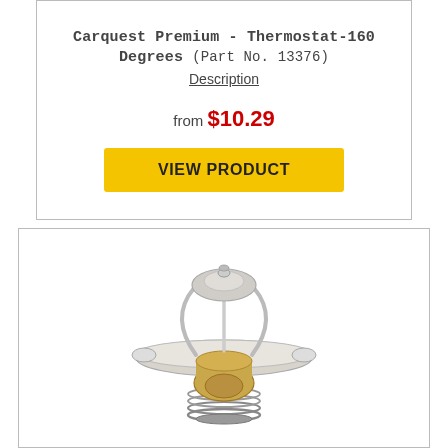Carquest Premium - Thermostat-160 Degrees (Part No. 13376)
Description
from $10.29
VIEW PRODUCT
[Figure (photo): Photo of a Carquest Premium thermostat part, showing a circular flange with internal spring and brass wax element assembly, silver metal construction.]
Carquest Premium - Thermostat-180 Degrees (Part No. 13348)
Description